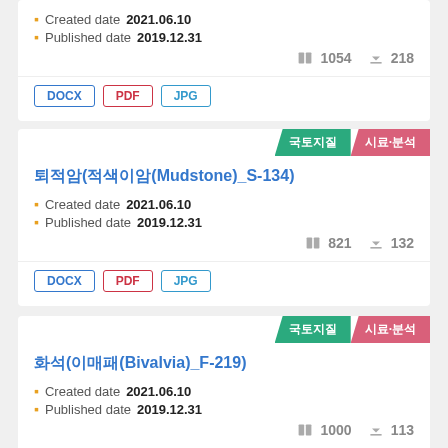Created date 2021.06.10
Published date 2019.12.31
1054  218
DOCX  PDF  JPG
국토지질  시료·분석
퇴적암(적색이암(Mudstone)_S-134)
Created date 2021.06.10
Published date 2019.12.31
821  132
DOCX  PDF  JPG
국토지질  시료·분석
화석(이매패(Bivalvia)_F-219)
Created date 2021.06.10
Published date 2019.12.31
1000  113
DOCX  PDF  JPG